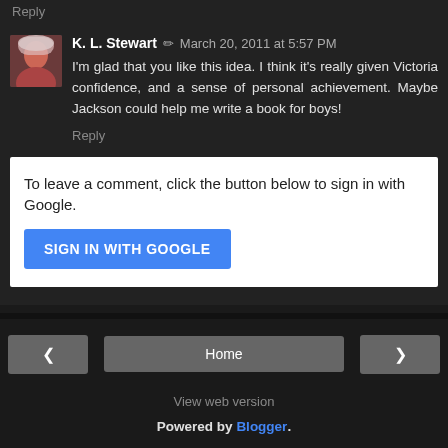Reply
K. L. Stewart ✏ March 20, 2011 at 5:57 PM
I'm glad that you like this idea. I think it's really given Victoria confidence, and a sense of personal achievement. Maybe Jackson could help me write a book for boys!
Reply
To leave a comment, click the button below to sign in with Google.
SIGN IN WITH GOOGLE
Home
View web version
Powered by Blogger.